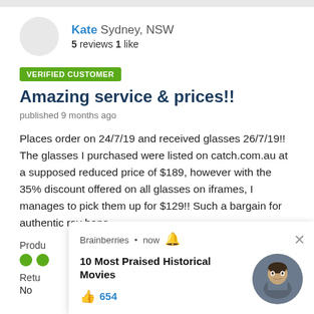Kate Sydney, NSW
5 reviews 1 like
VERIFIED CUSTOMER
Amazing service & prices!!
published 9 months ago
Places order on 24/7/19 and received glasses 26/7/19!! The glasses I purchased were listed on catch.com.au at a supposed reduced price of $189, however with the 35% discount offered on all glasses on iframes, I manages to pick them up for $129!! Such a bargain for authentic ray bans
Produ
Retur
No
[Figure (screenshot): Brainberries push notification overlay showing '10 Most Praised Historical Movies' with a thumbs up icon and 654 likes, and a circular portrait photo of a young man in military attire, with an X close button]